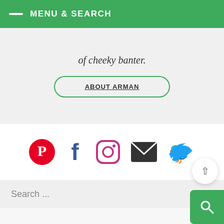MENU & SEARCH
of cheeky banter.
ABOUT ARMAN
[Figure (infographic): Social media icons row: Pinterest (red), Facebook (blue), Instagram (purple gradient), Email (dark gray envelope), Twitter (light blue bird)]
Search ...